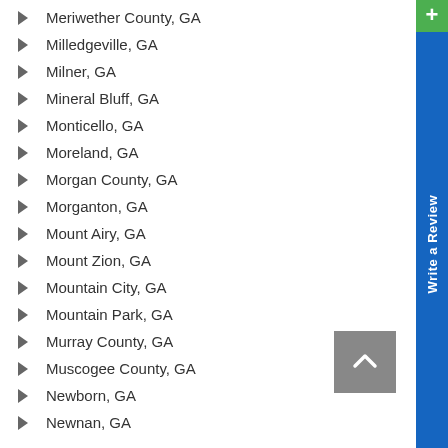Meriwether County, GA
Milledgeville, GA
Milner, GA
Mineral Bluff, GA
Monticello, GA
Moreland, GA
Morgan County, GA
Morganton, GA
Mount Airy, GA
Mount Zion, GA
Mountain City, GA
Mountain Park, GA
Murray County, GA
Muscogee County, GA
Newborn, GA
Newnan, GA